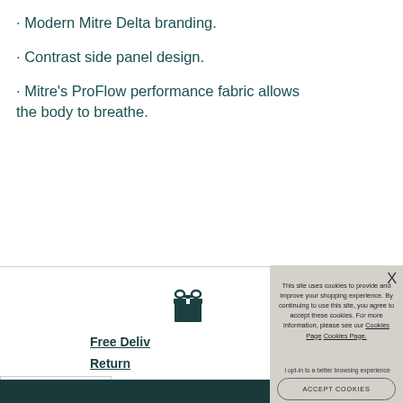· Modern Mitre Delta branding.
· Contrast side panel design.
· Mitre's ProFlow performance fabric allows the body to breathe.
[Figure (other): Gift box icon above Free Delivery and Returns text]
Free Deliv
Return
Share
f
This site uses cookies to provide and improve your shopping experience. By continuing to use this site, you agree to accept these cookies. For more information, please see our Cookies Page Cookies Page.
I opt-in to a better browsing experience
ACCEPT COOKIES